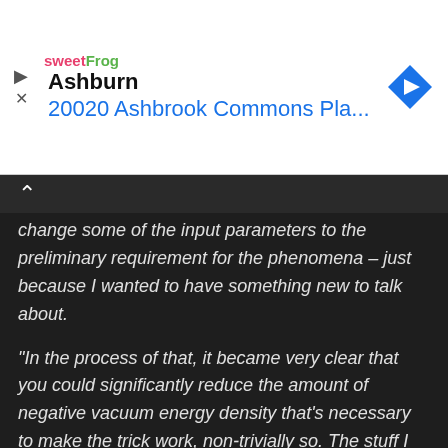[Figure (other): Advertisement banner for sweetFrog frozen yogurt showing location: Ashburn, 20020 Ashbrook Commons Pla... with navigation arrow icon]
change some of the input parameters to the preliminary requirement for the phenomena – just because I wanted to have something new to talk about.
“In the process of that, it became very clear that you could significantly reduce the amount of negative vacuum energy density that’s necessary to make the trick work, non-trivially so. The stuff I published in 11’, 12’, and 13’ – three different conferences back to